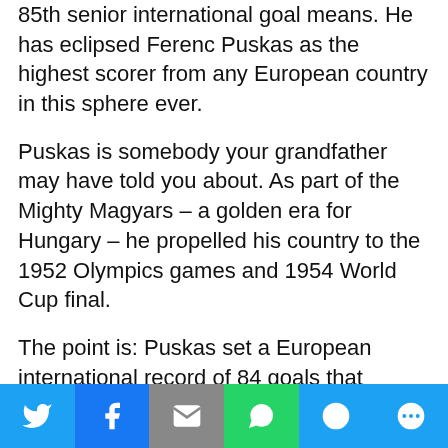85th senior international goal means. He has eclipsed Ferenc Puskas as the highest scorer from any European country in this sphere ever.
Puskas is somebody your grandfather may have told you about. As part of the Mighty Magyars – a golden era for Hungary – he propelled his country to the 1952 Olympics games and 1954 World Cup final.
The point is: Puskas set a European international record of 84 goals that looked like it would never be broken. Ronaldo has done it by transforming over his career from a tricky winger to a truely predatory striker, which is why he is one of the World Cup finishers.
[Figure (infographic): Social share bar with Twitter, Facebook, Email, WhatsApp, SMS, and More buttons]